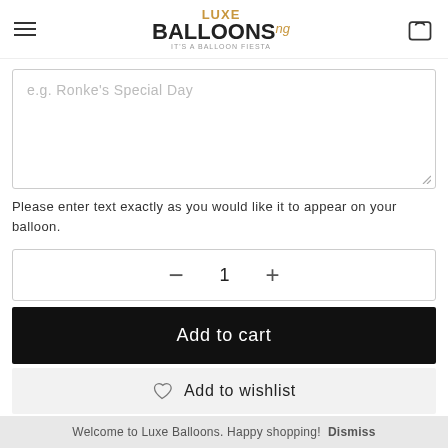LUXE BALLOONS ng — It's a balloon fiesta
[Figure (screenshot): Text input area with placeholder text 'e.g. Ronke's Special Day']
Please enter text exactly as you would like it to appear on your balloon.
[Figure (infographic): Quantity selector with minus button, quantity 1, and plus button]
Add to cart
Add to wishlist
Welcome to Luxe Balloons. Happy shopping! Dismiss